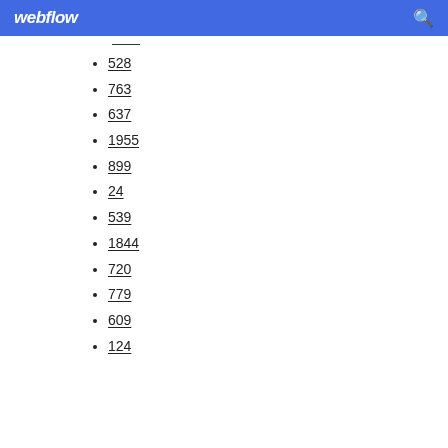webflow
528
763
637
1955
899
24
539
1844
720
779
609
124